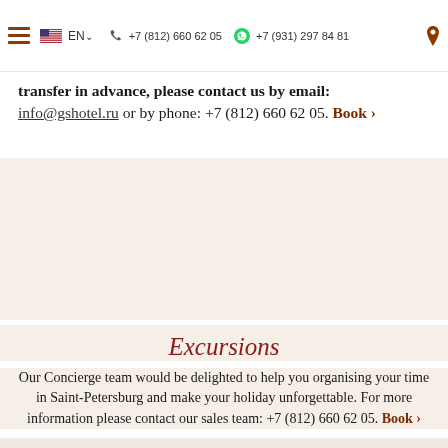EN  +7 (812) 660 62 05  +7 (931) 297 84 81
transfer in advance, please contact us by email: info@gshotel.ru or by phone: +7 (812) 660 62 05. Book >
Excursions
Our Concierge team would be delighted to help you organising your time in Saint-Petersburg and make your holiday unforgettable. For more information please contact our sales team: +7 (812) 660 62 05. Book >